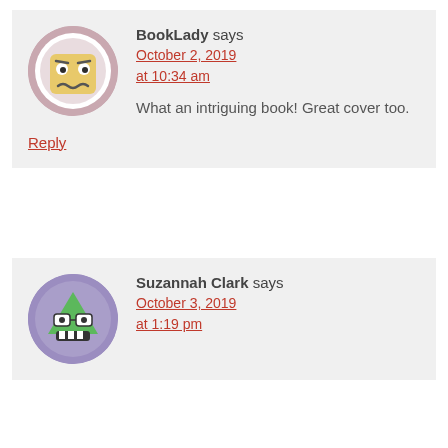[Figure (illustration): Cartoon avatar of a yellow square face with worried expression on a pink/mauve circular background]
BookLady says
October 2, 2019 at 10:34 am
What an intriguing book! Great cover too.
Reply
[Figure (illustration): Cartoon avatar of a green monster face with glasses and teeth on a purple circular background]
Suzannah Clark says
October 3, 2019 at 1:19 pm